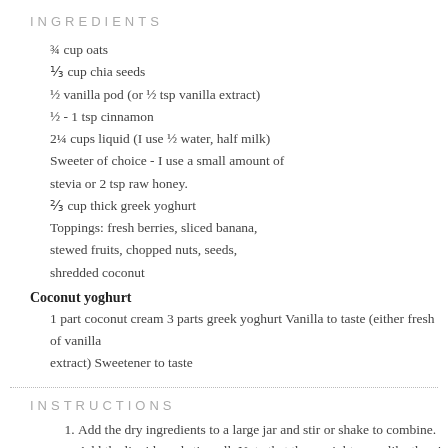INGREDIENTS
¾ cup oats
⅓ cup chia seeds
½ vanilla pod (or ½ tsp vanilla extract)
½ - 1 tsp cinnamon
2¼ cups liquid (I use ½ water, half milk)
Sweeter of choice - I use a small amount of stevia or 2 tsp raw honey.
⅔ cup thick greek yoghurt
Toppings: fresh berries, sliced banana, stewed fruits, chopped nuts, seeds, shredded coconut
Coconut yoghurt
1 part coconut cream
3 parts greek yoghurt
Vanilla to taste (either fresh of vanilla extract)
Sweetener to taste
INSTRUCTIONS
1. Add the dry ingredients to a large jar and stir or shake to combine. Add the liquids and stir well. Note that there might seem like there's